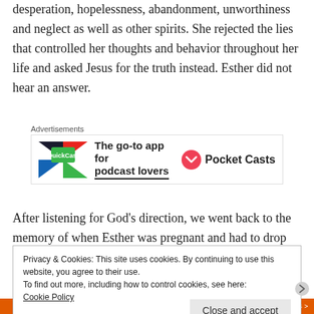desperation, hopelessness, abandonment, unworthiness and neglect as well as other spirits. She rejected the lies that controlled her thoughts and behavior throughout her life and asked Jesus for the truth instead. Esther did not hear an answer.
[Figure (other): Advertisement banner for Pocket Casts app showing logo and tagline 'The go-to app for podcast lovers']
After listening for God’s direction, we went back to the memory of when Esther was pregnant and had to drop
Privacy & Cookies: This site uses cookies. By continuing to use this website, you agree to their use.
To find out more, including how to control cookies, see here:
Cookie Policy
Close and accept